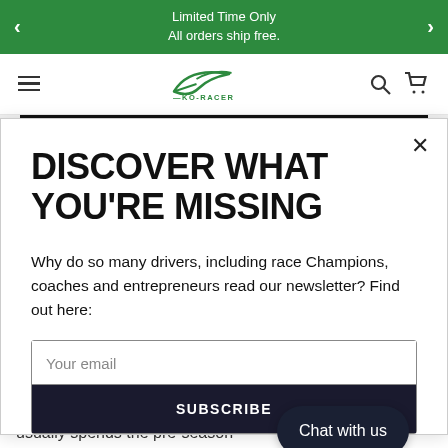Limited Time Only
All orders ship free.
[Figure (logo): KO-RACER brand logo with stylized racing checkmark swoosh above the text KO-RACER]
DISCOVER WHAT YOU'RE MISSING
Why do so many drivers, including race Champions, coaches and entrepreneurs read our newsletter? Find out here:
Your email
SUBSCRIBE
Chat with us
usually spends the pre-season